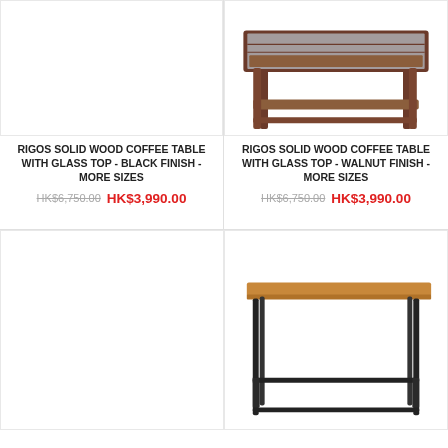[Figure (photo): Product image placeholder - empty white box for black finish coffee table]
RIGOS SOLID WOOD COFFEE TABLE WITH GLASS TOP - BLACK FINISH - MORE SIZES
HK$6,750.00  HK$3,990.00
[Figure (photo): Rigos solid wood coffee table with glass top - walnut finish, showing brown wood frame with glass top]
RIGOS SOLID WOOD COFFEE TABLE WITH GLASS TOP - WALNUT FINISH - MORE SIZES
HK$6,750.00  HK$3,990.00
[Figure (photo): Product image placeholder - empty white box for second product]
[Figure (photo): Bar height table with wood top and black metal frame legs]